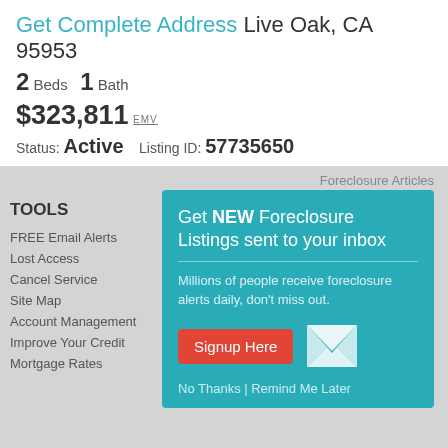Get Complete Address Live Oak, CA 95953
2 Beds  1 Bath
$323,811 EMV
Status: Active    Listing ID: 57735650
Foreclosure Articles
TOOLS
FREE Email Alerts
Lost Access
Cancel Service
Site Map
Account Management
Improve Your Credit
Mortgage Rates
Get NEW Foreclosure Listings sent to your inbox
Millions of people receive foreclosure alerts daily, don't miss out.
Signup Here
No Thanks | Remind Me Later
Privacy Policy  |  Terms and Conditions of Service  |  © Foreclosure.com / ForeclosureFreeSearch, Inc 1999-2022. All Rights Reserved.